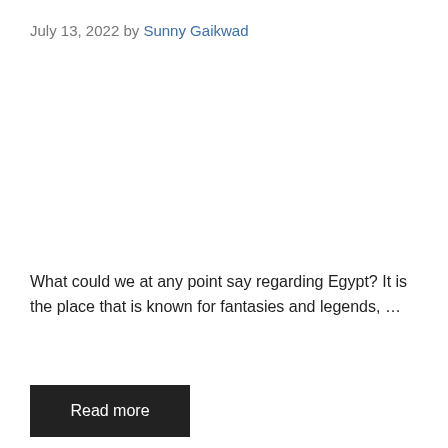July 13, 2022 by Sunny Gaikwad
What could we at any point say regarding Egypt? It is the place that is known for fantasies and legends, ...
Read more